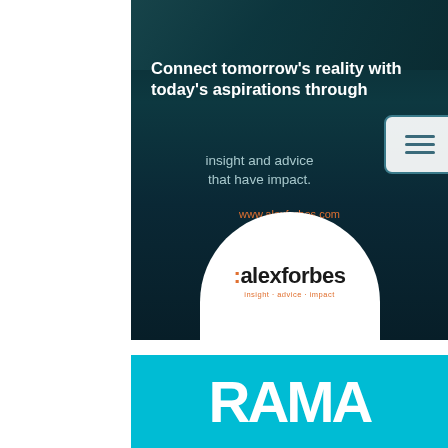[Figure (infographic): Alex Forbes branded banner with dark teal background. Bold white text reads 'Connect tomorrow's reality with today's aspirations through' followed by lighter text 'insight and advice that have impact.' A menu icon (three horizontal lines) appears in a rounded rectangle box on the right. URL www.alexforbes.com in orange. Bottom shows white semicircle with :alexforbes logo and tagline 'insight · advice · impact'.]
[Figure (logo): RAWA logo in large white bold letters on a cyan/sky-blue background.]